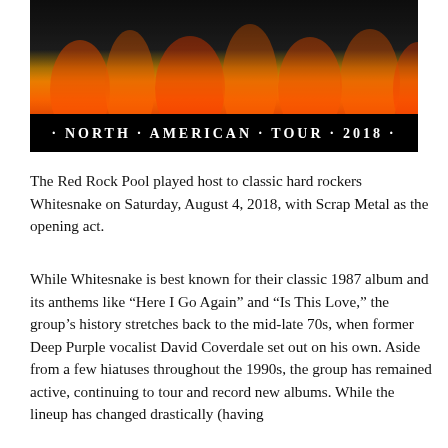[Figure (photo): Concert promotional banner for Whitesnake North American Tour 2018 showing band members in black and white against flames, with tour title in white text on black background at bottom.]
The Red Rock Pool played host to classic hard rockers Whitesnake on Saturday, August 4, 2018, with Scrap Metal as the opening act.
While Whitesnake is best known for their classic 1987 album and its anthems like “Here I Go Again” and “Is This Love,” the group’s history stretches back to the mid-late 70s, when former Deep Purple vocalist David Coverdale set out on his own. Aside from a few hiatuses throughout the 1990s, the group has remained active, continuing to tour and record new albums. While the lineup has changed drastically (having